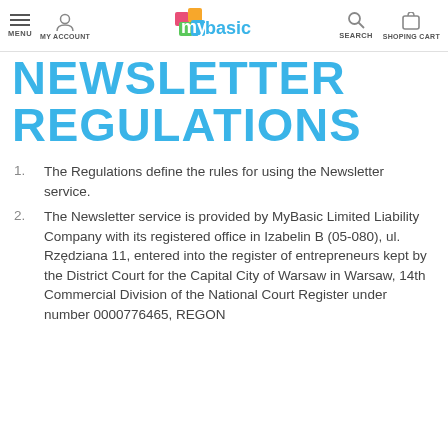MENU  MY ACCOUNT  mybasic  SEARCH  SHOPING CART
NEWSLETTER REGULATIONS
1. The Regulations define the rules for using the Newsletter service.
2. The Newsletter service is provided by MyBasic Limited Liability Company with its registered office in Izabelin B (05-080), ul. Rzędziana 11, entered into the register of entrepreneurs kept by the District Court for the Capital City of Warsaw in Warsaw, 14th Commercial Division of the National Court Register under number 0000776465, REGON